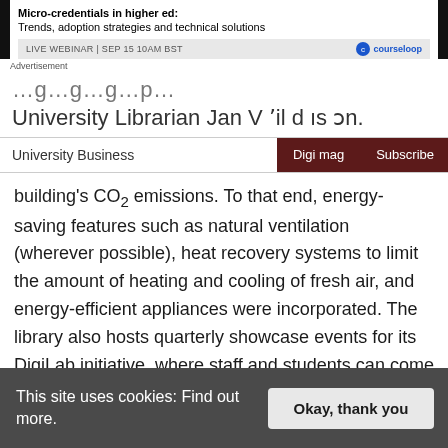[Figure (screenshot): Advertisement banner for Courseloop webinar: Micro-credentials in higher ed: Trends, adoption strategies and technical solutions. LIVE WEBINAR | SEP 15 10AM BST]
Advertisement
University Librarian Jan Vʼil dҹ ᖳon.
University Business | Digi mag | Subscribe
building’s CO2 emissions. To that end, energy-saving features such as natural ventilation (wherever possible), heat recovery systems to limit the amount of heating and cooling of fresh air, and energy-efficient appliances were incorporated. The library also hosts quarterly showcase events for its DigiLab initiative, where staff and students can come to try out future technologies for
This site uses cookies: Find out more.